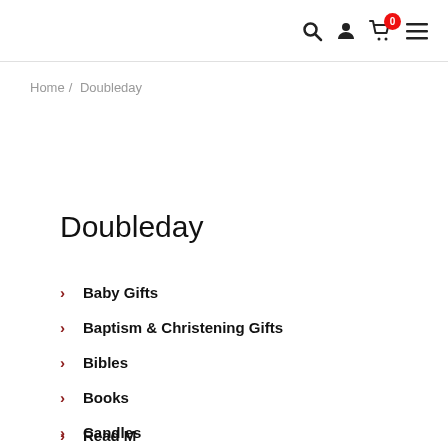Navigation header with search, user, cart (0 items), and menu icons
Home / Doubleday
Doubleday
Baby Gifts
Baptism & Christening Gifts
Bibles
Books
Candles
Read More...